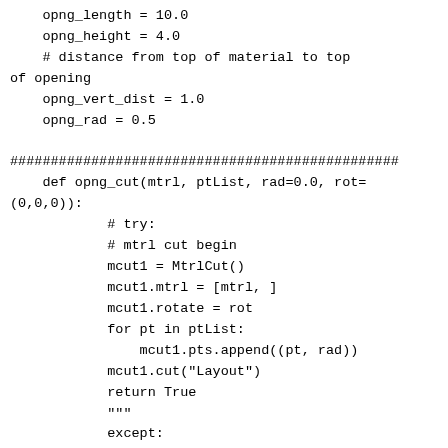opng_length = 10.0
    opng_height = 4.0
    # distance from top of material to top of opening
    opng_vert_dist = 1.0
    opng_rad = 0.5

################################################
    def opng_cut(mtrl, ptList, rad=0.0, rot=(0,0,0)):
            # try:
            # mtrl cut begin
            mcut1 = MtrlCut()
            mcut1.mtrl = [mtrl, ]
            mcut1.rotate = rot
            for pt in ptList:
                mcut1.pts.append((pt, rad))
            mcut1.cut("Layout")
            return True
            """
            except:
                Warning(formatExceptionInfo())
                return False
            """
            # mtrl cut end